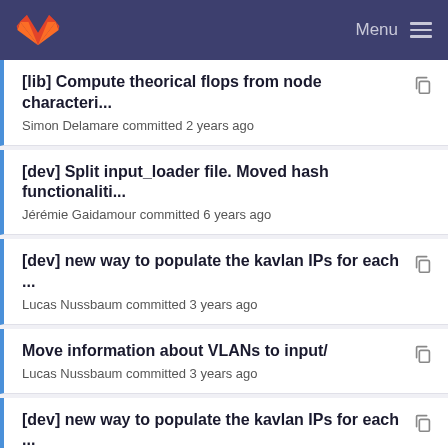Menu
[lib] Compute theorical flops from node characteri...
Simon Delamare committed 2 years ago
[dev] Split input_loader file. Moved hash functionaliti...
Jérémie Gaidamour committed 6 years ago
[dev] new way to populate the kavlan IPs for each ...
Lucas Nussbaum committed 3 years ago
Move information about VLANs to input/
Lucas Nussbaum committed 3 years ago
[dev] new way to populate the kavlan IPs for each ...
Lucas Nussbaum committed 3 years ago